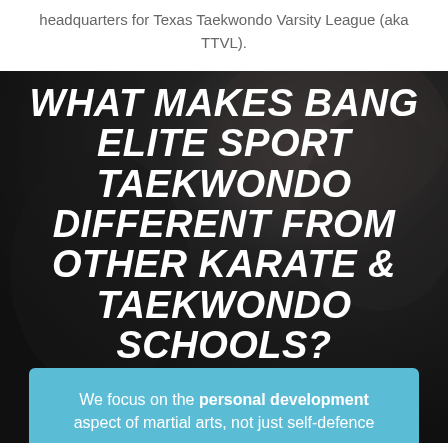headquarters for Texas Taekwondo Varsity League (aka TTVL).
[Figure (photo): Dark background photo showing hands/martial arts uniform, with large white bold italic text overlay reading 'WHAT MAKES BANG ELITE SPORT TAEKWONDO DIFFERENT FROM OTHER KARATE & TAEKWONDO SCHOOLS?' and a light blue box at the bottom with text beginning 'We focus on the personal development aspect of martial arts, not just self-defence...']
WHAT MAKES BANG ELITE SPORT TAEKWONDO DIFFERENT FROM OTHER KARATE & TAEKWONDO SCHOOLS?
We focus on the personal development aspect of martial arts, not just self-defence